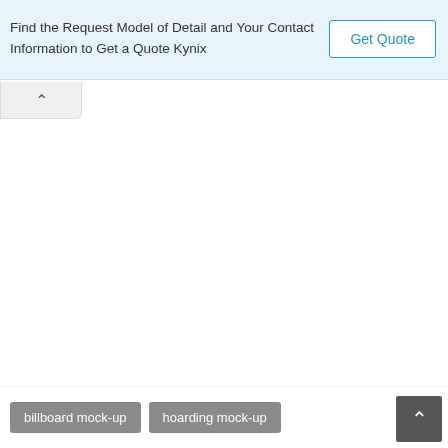Find the Request Model of Detail and Your Contact Information to Get a Quote Kynix
Get Quote
billboard mock-up
hoarding mock-up